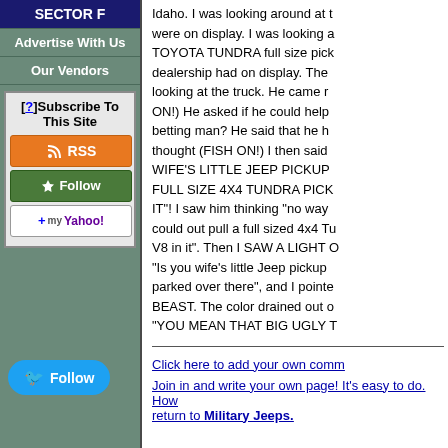SECTOR F
Advertise With Us
Our Vendors
[?]Subscribe To This Site
[Figure (other): RSS feed button]
[Figure (other): Follow button (green)]
[Figure (other): Add to My Yahoo button]
[Figure (other): Twitter Follow button]
Idaho. I was looking around at t... were on display. I was looking a TOYOTA TUNDRA full size pick... dealership had on display. The... looking at the truck. He came r... ON!) He asked if he could help... betting man? He said that he h... thought (FISH ON!) I then said... WIFE'S LITTLE JEEP PICKUP... FULL SIZE 4X4 TUNDRA PICK... IT"! I saw him thinking "no way... could out pull a full sized 4x4 Tu... V8 in it". Then I SAW A LIGHT O "Is you wife's little Jeep pickup... parked over there", and I pointe... BEAST. The color drained out o... "YOU MEAN THAT BIG UGLY T
Click here to add your own comm
Join in and write your own page! It's easy to do. How... return to Military Jeeps.